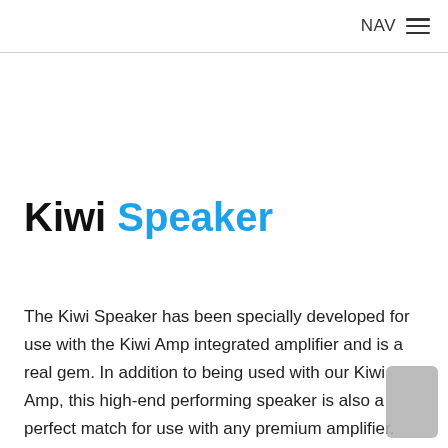NAV ≡
Kiwi Speaker
The Kiwi Speaker has been specially developed for use with the Kiwi Amp integrated amplifier and is a real gem. In addition to being used with our Kiwi Amp, this high-end performing speaker is also a perfect match for use with any premium amplifier. The loudspeaker cabinets are built entirely by hand